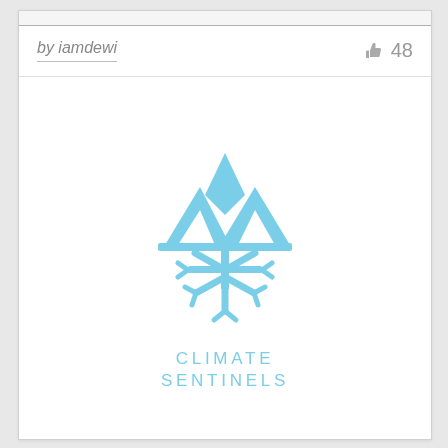by iamdewi
48
[Figure (logo): Climate Sentinels logo: a stylized snowflake combined with mountain peaks forming a triangular shape, rendered in light blue, with the text CLIMATE SENTINELS below in spaced light blue letters.]